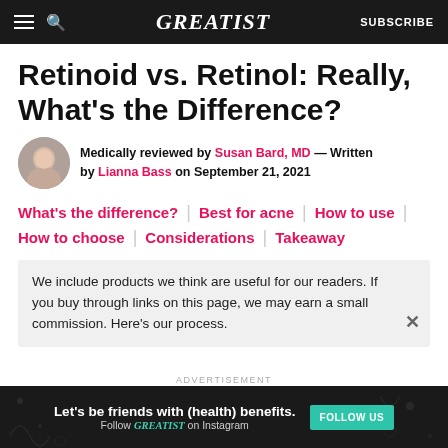GREATIST   SUBSCRIBE
Retinoid vs. Retinol: Really, What's the Difference?
Medically reviewed by Susan Bard, MD — Written by Lianna Bass on September 21, 2021
What's the difference?  |  Best for acne  |  How to use  |  How to choose  |  Considerations  |  Takeaway
We include products we think are useful for our readers. If you buy through links on this page, we may earn a small commission. Here's our process.
[Figure (other): Advertisement banner: Let's be friends with (health) benefits. Follow GREATIST on Instagram. FOLLOW US button.]